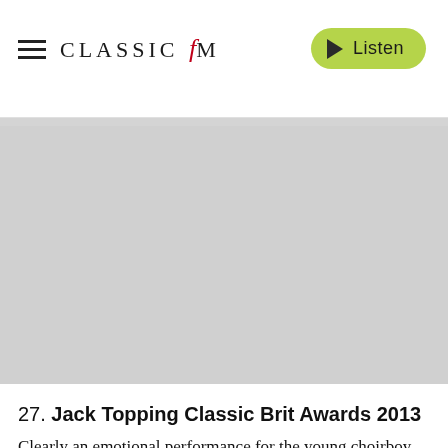CLASSIC FM — Listen
[Figure (photo): Gray placeholder image area representing a photo related to Jack Topping Classic Brit Awards 2013]
27. Jack Topping Classic Brit Awards 2013
Clearly an emotional performance for the young choirboy, who stunned the crowd with 'You'll Never